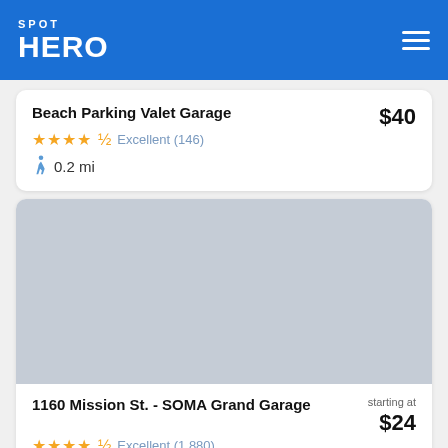SPOT HERO
Beach Parking Valet Garage — $40 — ★★★★½ Excellent (146) — 🚶 0.2 mi
[Figure (photo): Gray placeholder image for 1160 Mission St. - SOMA Grand Garage parking listing]
1160 Mission St. - SOMA Grand Garage — starting at $24 — ★★★★½ Excellent (1,880) — 🚶 0.3 mi